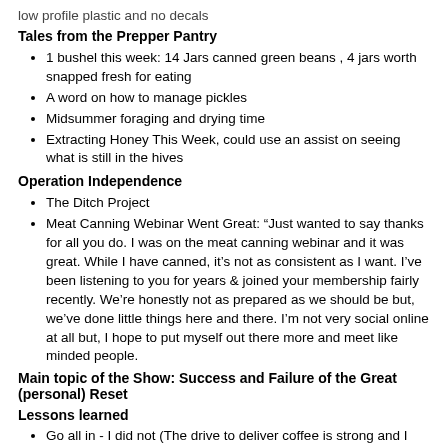low profile plastic and no decals
Tales from the Prepper Pantry
1 bushel this week: 14 Jars canned green beans , 4 jars worth snapped fresh for eating
A word on how to manage pickles
Midsummer foraging and drying time
Extracting Honey This Week, could use an assist on seeing what is still in the hives
Operation Independence
The Ditch Project
Meat Canning Webinar Went Great: “Just wanted to say thanks for all you do. I was on the meat canning webinar and it was great. While I have canned, it’s not as consistent as I want. I’ve been listening to you for years & joined your membership fairly recently. We’re honestly not as prepared as we should be but, we’ve done little things here and there. I’m not very social online at all but, I hope to put myself out there more and meet like minded people.
Main topic of the Show: Success and Failure of the Great (personal) Reset
Lessons learned
Go all in - I did not (The drive to deliver coffee is strong and I flubbed